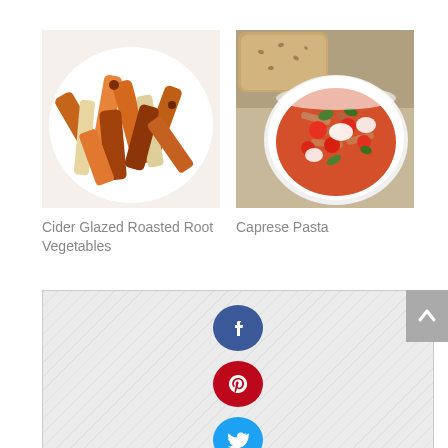[Figure (photo): Photo of roasted root vegetables (carrots and parsnips) on a white plate, glazed with cider]
Cider Glazed Roasted Root Vegetables
[Figure (photo): Photo of Caprese pasta in a white bowl with tomatoes, mozzarella, basil and penne pasta]
Caprese Pasta
[Figure (infographic): Social sharing buttons section with diagonal stripe background showing Facebook (blue), Pinterest (red), and Twitter (blue) circular icon buttons, and a grey scroll-to-top arrow button]